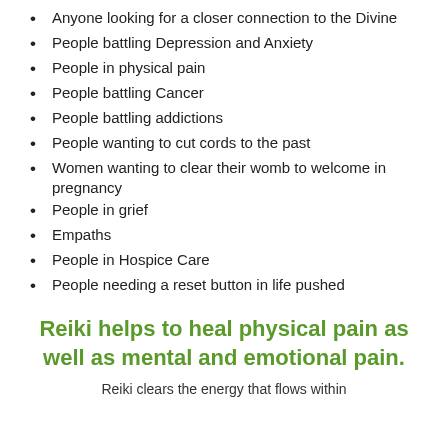Anyone looking for a closer connection to the Divine
People battling Depression and Anxiety
People in physical pain
People battling Cancer
People battling addictions
People wanting to cut cords to the past
Women wanting to clear their womb to welcome in pregnancy
People in grief
Empaths
People in Hospice Care
People needing a reset button in life pushed
Reiki helps to heal physical pain as well as mental and emotional pain.
Reiki clears the energy that flows within